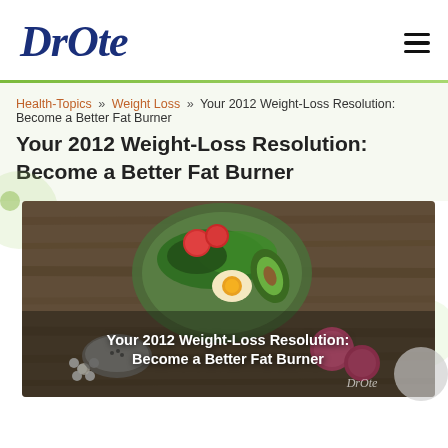[Figure (logo): DrOte script logo in navy blue]
Health-Topics » Weight Loss » Your 2012 Weight-Loss Resolution: Become a Better Fat Burner
Your 2012 Weight-Loss Resolution: Become a Better Fat Burner
[Figure (photo): Hero image of a colorful salad bowl with vegetables, eggs, avocado and flowers on a wooden table, with overlay text: Your 2012 Weight-Loss Resolution: Become a Better Fat Burner]